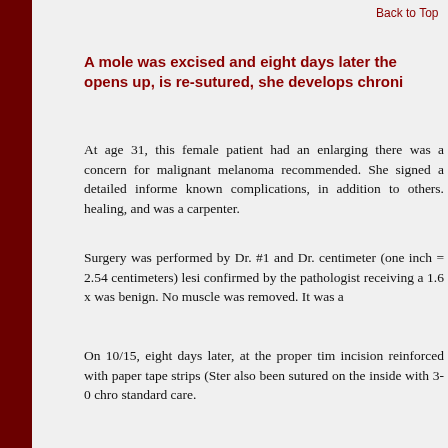Back to Top
A mole was excised and eight days later the opens up, is re-sutured, she develops chroni
At age 31, this female patient had an enlarging there was a concern for malignant melanoma recommended. She signed a detailed informe known complications, in addition to others. healing, and was a carpenter.
Surgery was performed by Dr. #1 and Dr. centimeter (one inch = 2.54 centimeters) lesi confirmed by the pathologist receiving a 1.6 x was benign. No muscle was removed. It was a
On 10/15, eight days later, at the proper tim incision reinforced with paper tape strips (Ster also been sutured on the inside with 3-0 chro standard care.
The next day, she came to the emergency roo the previously sutured 8-cm incision). Did sh remove the Steri-Strips? They properly irriga infected), and as a precaution gave her an intra